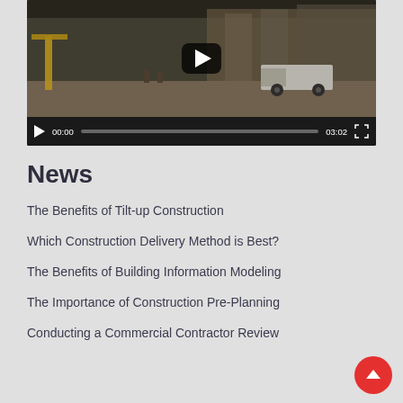[Figure (screenshot): Video player showing a construction site interior with cranes, equipment, and trucks. Controls show 00:00 timestamp and 03:02 duration.]
News
The Benefits of Tilt-up Construction
Which Construction Delivery Method is Best?
The Benefits of Building Information Modeling
The Importance of Construction Pre-Planning
Conducting a Commercial Contractor Review